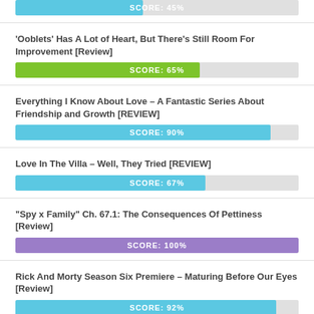[Figure (bar-chart): Score: 45%]
'Ooblets' Has A Lot of Heart, But There's Still Room For Improvement [Review]
[Figure (bar-chart): Score: 65%]
Everything I Know About Love – A Fantastic Series About Friendship and Growth [REVIEW]
[Figure (bar-chart): Score: 90%]
Love In The Villa – Well, They Tried [REVIEW]
[Figure (bar-chart): Score: 67%]
"Spy x Family" Ch. 67.1: The Consequences Of Pettiness [Review]
[Figure (bar-chart): Score: 100%]
Rick And Morty Season Six Premiere – Maturing Before Our Eyes [Review]
[Figure (bar-chart): Score: 92%]